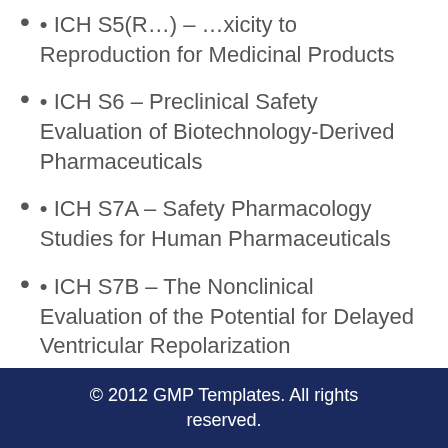• ICH S5(R...) – ...xicity to Reproduction for Medicinal Products
• ICH S6 – Preclinical Safety Evaluation of Biotechnology-Derived Pharmaceuticals
• ICH S7A – Safety Pharmacology Studies for Human Pharmaceuticals
• ICH S7B – The Nonclinical Evaluation of the Potential for Delayed Ventricular Repolarization
© 2012 GMP Templates. All rights reserved.